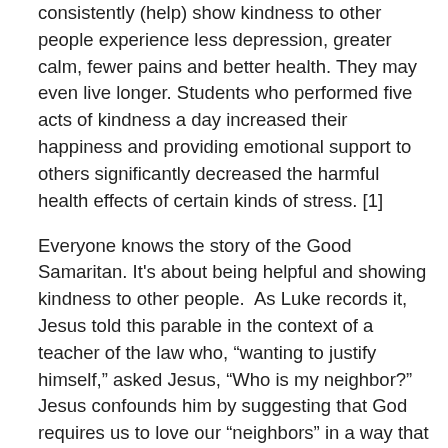consistently (help) show kindness to other people experience less depression, greater calm, fewer pains and better health. They may even live longer. Students who performed five acts of kindness a day increased their happiness and providing emotional support to others significantly decreased the harmful health effects of certain kinds of stress. [1]
Everyone knows the story of the Good Samaritan. It's about being helpful and showing kindness to other people. As Luke records it, Jesus told this parable in the context of a teacher of the law who, “wanting to justify himself,” asked Jesus, “Who is my neighbor?” Jesus confounds him by suggesting that God requires us to love our “neighbors” in a way that transcends ethnic boundaries. [2] (Luke 10:25-37) Sadly, we often fail to meet Jesus’ ideal of neighbor love.